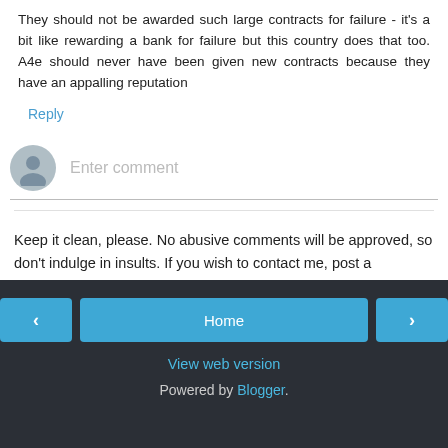They should not be awarded such large contracts for failure - it's a bit like rewarding a bank for failure but this country does that too. A4e should never have been given new contracts because they have an appalling reputation
Reply
[Figure (other): Comment input field with avatar icon and 'Enter comment' placeholder text]
Keep it clean, please. No abusive comments will be approved, so don't indulge in insults. If you wish to contact me, post a comment beginning with "not for publication".
[Figure (other): Navigation footer with previous arrow button, Home button, next arrow button, View web version link, and Powered by Blogger text]